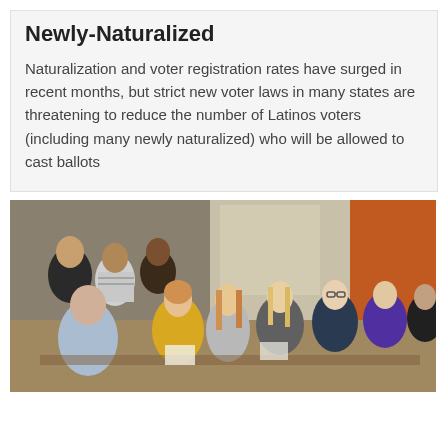Latino Voters, Including Many Newly-Naturalized
Naturalization and voter registration rates have surged in recent months, but strict new voter laws in many states are threatening to reduce the number of Latinos voters (including many newly naturalized) who will be allowed to cast ballots
[Figure (photo): A group of diverse people seated in rows, appearing to be at a public meeting or forum. People visible include men and women of various ages and backgrounds. One woman in a yellow top is prominent in the center.]